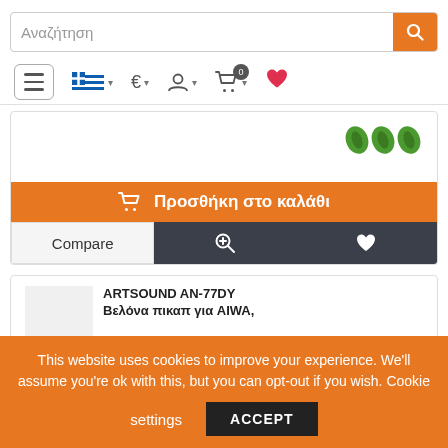[Figure (screenshot): E-commerce website header with search bar showing placeholder text 'Αναζήτηση', orange search button with magnifying glass icon, navigation bar with hamburger menu, Greek flag with dropdown, Euro currency with dropdown, user account icon with dropdown, shopping cart icon with badge showing 0, and red heart/wishlist icon.]
[Figure (screenshot): Product card area showing three green icons in the top right, an orange 'Προσθήκη στο καλάθι' (Add to cart) button with cart icon, and a dark action bar with Compare button, zoom icon, and heart/wishlist icon.]
Προσθήκη στο καλάθι
Compare
ARTSOUND AN-77DY
Βελόνα πικαπ για AIWA,
This website uses cookies to improve your experience. We'll assume you're ok with this, but you can opt-out if you wish. Cookie settings ACCEPT